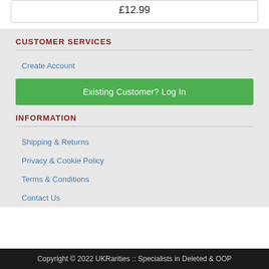£12.99
CUSTOMER SERVICES
Create Account
Existing Customer? Log In
INFORMATION
Shipping & Returns
Privacy & Cookie Policy
Terms & Conditions
Contact Us
Copyright © 2022 UKRarities :: Specialists in Deleted & OOP